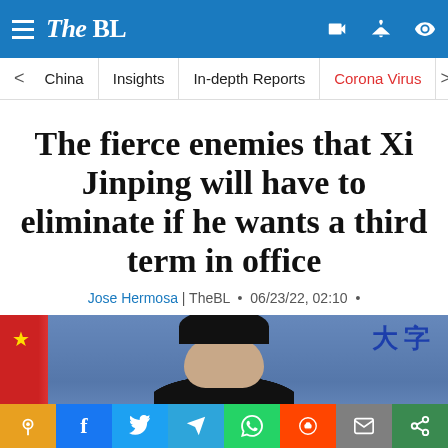The BL
China | Insights | In-depth Reports | Corona Virus
The fierce enemies that Xi Jinping will have to eliminate if he wants a third term in office
Jose Hermosa | TheBL • 06/23/22, 02:10 •
[Figure (photo): Photo of Xi Jinping looking down, with Chinese flag and Chinese characters in background, and social sharing bar at bottom]